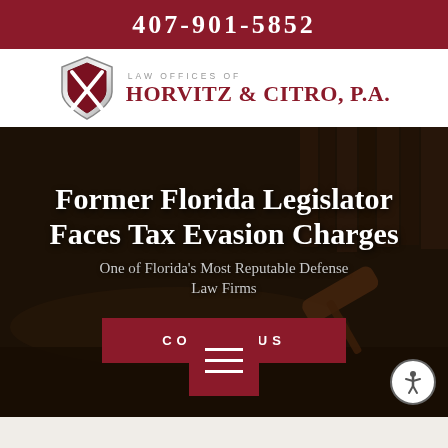407-901-5852
[Figure (logo): Law Offices of Horvitz & Citro, P.A. logo with shield emblem]
Former Florida Legislator Faces Tax Evasion Charges
One of Florida's Most Reputable Defense Law Firms
CONTACT US